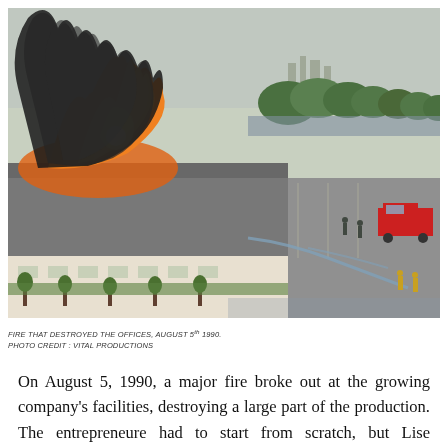[Figure (photo): Aerial photograph of a large building on fire, with massive black smoke billowing upward on the left side. Firefighters and fire trucks are visible in the parking lot to the right. Trees and a river or lake are visible in the background. The scene shows a commercial or industrial facility being consumed by fire.]
FIRE THAT DESTROYED THE OFFICES, AUGUST 5th 1990.
PHOTO CREDIT : VITAL PRODUCTIONS
On August 5, 1990, a major fire broke out at the growing company's facilities, destroying a large part of the production. The entrepreneure had to start from scratch, but Lise maintained the same unifying spirit that had